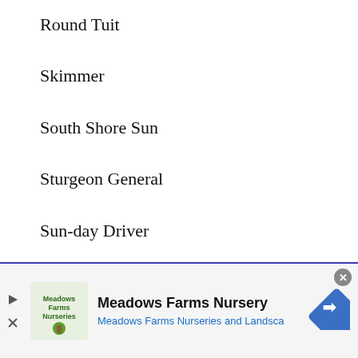Round Tuit
Skimmer
South Shore Sun
Sturgeon General
Sun-day Driver
The Good Life
Tranquility
[Figure (other): Advertisement banner for Meadows Farms Nursery with logo, text 'Meadows Farms Nursery / Meadows Farms Nurseries and Landsca', a navigation arrow icon, play/close controls]